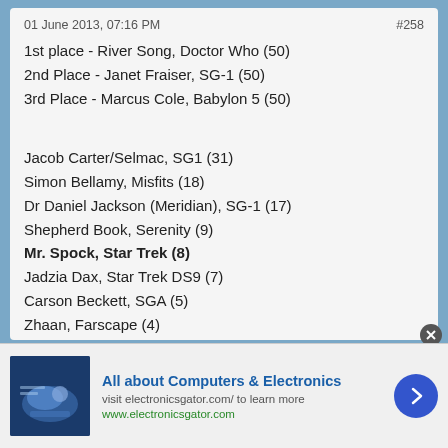01 June 2013, 07:16 PM   #258
1st place - River Song, Doctor Who (50)
2nd Place - Janet Fraiser, SG-1 (50)
3rd Place - Marcus Cole, Babylon 5 (50)
Jacob Carter/Selmac, SG1 (31)
Simon Bellamy, Misfits (18)
Dr Daniel Jackson (Meridian), SG-1 (17)
Shepherd Book, Serenity (9)
Mr. Spock, Star Trek (8)
Jadzia Dax, Star Trek DS9 (7)
Carson Beckett, SGA (5)
Zhaan, Farscape (4)
Wash, Serenity (3)
President Laura Roslin, BSG (1)
Charlie Kowalski, SG1 (0)
Martouf, SG1 (0)
Ianto Jones, Torchwood (0)
All about Computers & Electronics
visit electronicsgator.com/ to learn more
www.electronicsgator.com